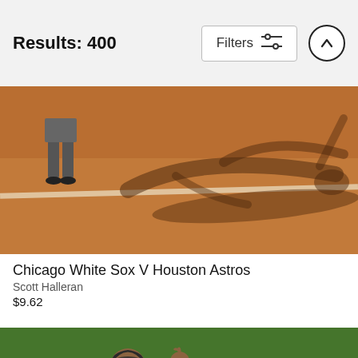Results: 400
[Figure (photo): Baseball umpire standing on clay infield dirt with long shadow cast across the ground, chalk line visible]
Chicago White Sox V Houston Astros
Scott Halleran
$9.62
[Figure (photo): Colorado Rockies baseball player in pinstripe uniform and helmet running toward home plate on clay infield]